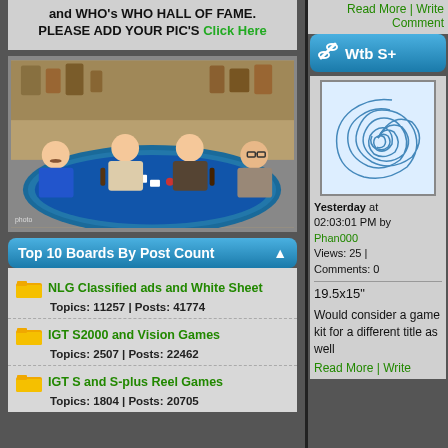and WHO's WHO HALL OF FAME. PLEASE ADD YOUR PIC'S Click Here
[Figure (photo): Four men sitting around a blue poker/game table with cards, chips, and drinks in a store/shop setting]
Top 10 Boards By Post Count
NLG Classified ads and White Sheet — Topics: 11257 | Posts: 41774
IGT S2000 and Vision Games — Topics: 2507 | Posts: 22462
IGT S and S-plus Reel Games — Topics: (partial)
Wtb S+
[Figure (photo): Blue and white swirling spiral pattern image]
Yesterday at 02:03:01 PM by Phan000
Views: 25 | Comments: 0
19.5x15"
Would consider a game kit for a different title as well
Read More | Write